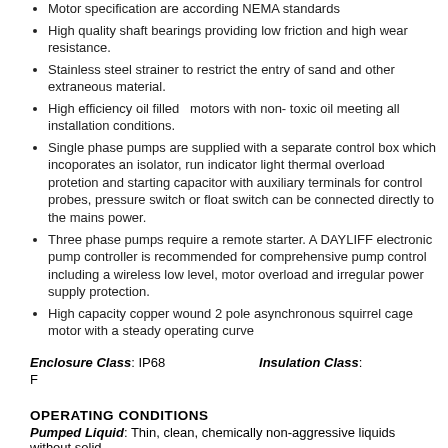Motor specification are according NEMA standards
High quality shaft bearings providing low friction and high wear resistance.
Stainless steel strainer to restrict the entry of sand and other extraneous material.
High efficiency oil filled  motors with non- toxic oil meeting all installation conditions.
Single phase pumps are supplied with a separate control box which incoporates an isolator, run indicator light thermal overload protetion and starting capacitor with auxiliary terminals for control probes, pressure switch or float switch can be connected directly to the mains power.
Three phase pumps require a remote starter. A DAYLIFF electronic pump controller is recommended for comprehensive pump control including a wireless low level, motor overload and irregular power supply protection.
High capacity copper wound 2 pole asynchronous squirrel cage motor with a steady operating curve
Enclosure Class: IP68   Insulation Class: F
OPERATING CONDITIONS
Pumped Liquid: Thin, clean, chemically non-aggressive liquids without solid